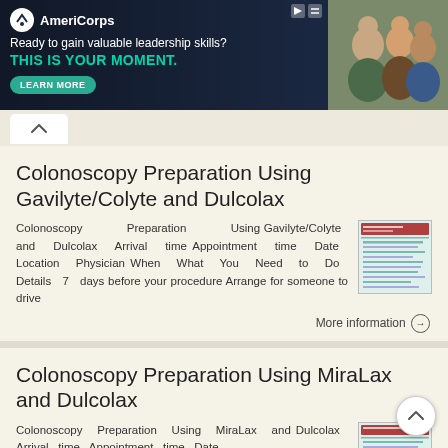[Figure (illustration): AmeriCorps advertisement banner: 'Ready to gain valuable leadership skills? THIS IS YOUR MOMENT.' with LEARN MORE button and photo of people on the right]
Colonoscopy Preparation Using Gavilyte/Colyte and Dulcolax
Colonoscopy Preparation Using Gavilyte/Colyte and Dulcolax Arrival time Appointment time Date Location Physician When What You Need to Do Details 7 days before your procedure Arrange for someone to drive
More information →
Colonoscopy Preparation Using MiraLax and Dulcolax
Colonoscopy Preparation Using MiraLax and Dulcolax Arrival time Appointment time Date